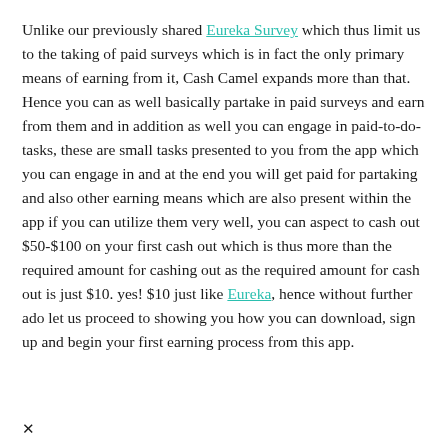Unlike our previously shared Eureka Survey which thus limit us to the taking of paid surveys which is in fact the only primary means of earning from it, Cash Camel expands more than that. Hence you can as well basically partake in paid surveys and earn from them and in addition as well you can engage in paid-to-do-tasks, these are small tasks presented to you from the app which you can engage in and at the end you will get paid for partaking and also other earning means which are also present within the app if you can utilize them very well, you can aspect to cash out $50-$100 on your first cash out which is thus more than the required amount for cashing out as the required amount for cash out is just $10. yes! $10 just like Eureka, hence without further ado let us proceed to showing you how you can download, sign up and begin your first earning process from this app.
×